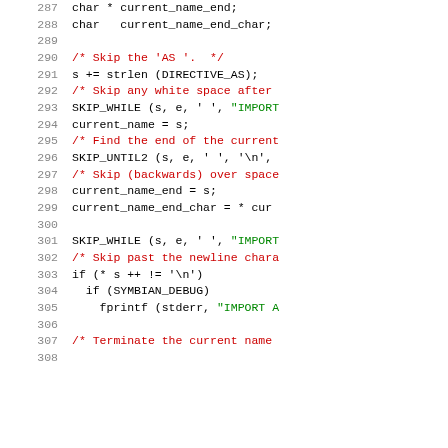Source code listing lines 287-307 (C code with syntax highlighting)